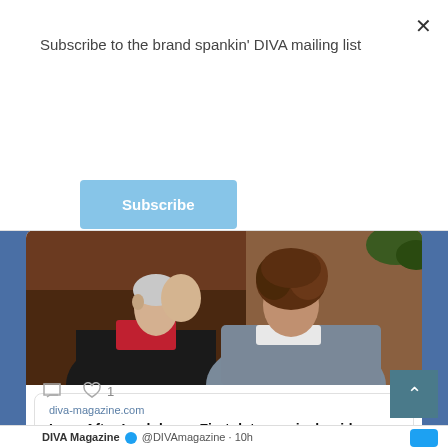Subscribe to the brand spankin' DIVA mailing list
Subscribe
[Figure (photo): Two people leaning in to kiss, one with short undercut hair and one with curly brown hair, close-up portrait style]
diva-magazine.com
Love After Lockdown: First date survival guide
1
DIVA Magazine @DIVAmagazine · 10h